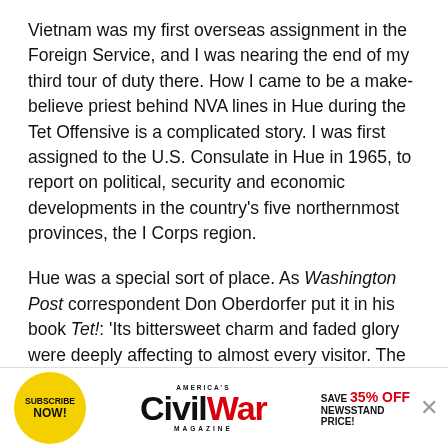Vietnam was my first overseas assignment in the Foreign Service, and I was nearing the end of my third tour of duty there. How I came to be a make-believe priest behind NVA lines in Hue during the Tet Offensive is a complicated story. I was first assigned to the U.S. Consulate in Hue in 1965, to report on political, security and economic developments in the country's five northernmost provinces, the I Corps region.
Hue was a special sort of place. As Washington Post correspondent Don Oberdorfer put it in his book Tet!: 'Its bittersweet charm and faded glory were deeply affecting to almost every visitor. The city radiated a haunting attraction difficult to define or
[Figure (infographic): Advertisement banner for America's Civil War Magazine. Yellow circle with 'SUBSCRIBE NOW!' text on left, 'AMERICA'S Civil War MAGAZINE' logo in center, and 'SAVE 35% OFF NEWSSTAND PRICE!' text on right.]